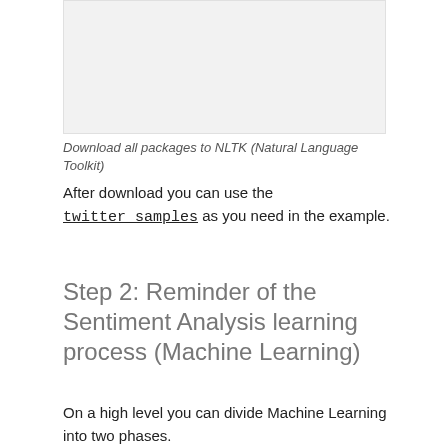[Figure (screenshot): Screenshot of NLTK downloader interface showing packages being downloaded]
Download all packages to NLTK (Natural Language Toolkit)
After download you can use the twitter_samples as you need in the example.
Step 2: Reminder of the Sentiment Analysis learning process (Machine Learning)
On a high level you can divide Machine Learning into two phases.